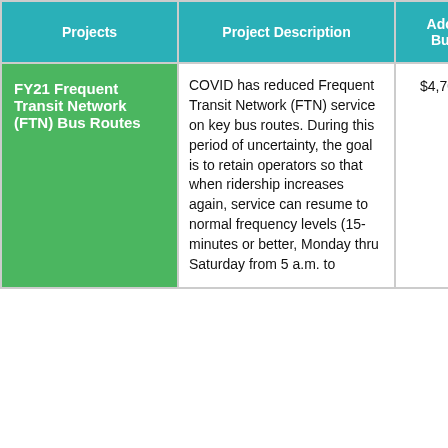| Projects | Project Description | Adopted Budget |
| --- | --- | --- |
| FY21 Frequent Transit Network (FTN) Bus Routes | COVID has reduced Frequent Transit Network (FTN) service on key bus routes. During this period of uncertainty, the goal is to retain operators so that when ridership increases again, service can resume to normal frequency levels (15-minutes or better, Monday thru Saturday from 5 a.m. to... | $4,700,000 |